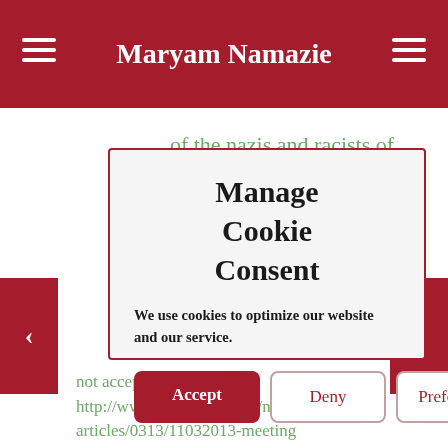Maryam Namazie
of the nazis and racists of the past.
Manage Cookie Consent
We use cookies to optimize our website and our service.
Accept
Deny
Preferences
n is not acceptable. Period. http://www.ucl.ac.uk/news/news-articles/0313/11032013-meeting